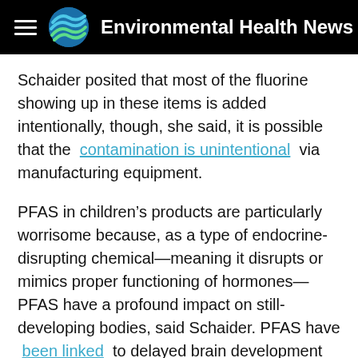Environmental Health News
Schaider posited that most of the fluorine showing up in these items is added intentionally, though, she said, it is possible that the contamination is unintentional via manufacturing equipment.
PFAS in children’s products are particularly worrisome because, as a type of endocrine-disrupting chemical—meaning it disrupts or mimics proper functioning of hormones—PFAS have a profound impact on still-developing bodies, said Schaider. PFAS have been linked to delayed brain development and immune systems problems in children.